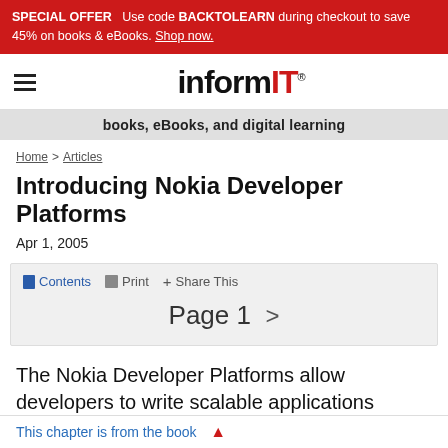SPECIAL OFFER  Use code BACKTOLEARN during checkout to save 45% on books & eBooks. Shop now.
[Figure (logo): InformIT logo with hamburger menu icon]
books, eBooks, and digital learning
Home > Articles
Introducing Nokia Developer Platforms
Apr 1, 2005
Contents  Print  + Share This
Page 1  >
The Nokia Developer Platforms allow developers to write scalable applications across a range of Nokia devices. This chapter covers the technologies from
This chapter is from the book